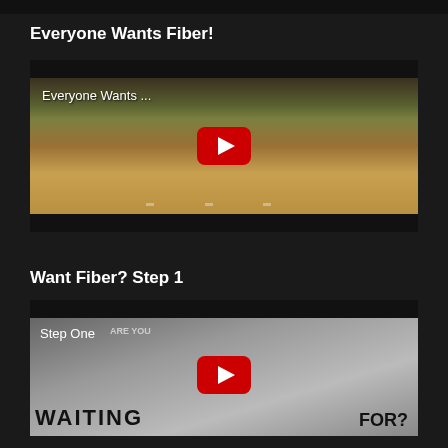[Figure (screenshot): Top black bar partially visible at top of page]
Everyone Wants Fiber!
[Figure (screenshot): YouTube video thumbnail showing 'Everyone Wants ...' with red YouTube play button over a scene of a yellow truck on a road with trees]
Want Fiber? Step 1
[Figure (screenshot): YouTube video thumbnail showing 'Step One' text over a dark background with bold text 'WAITING FOR?' and red YouTube play button]